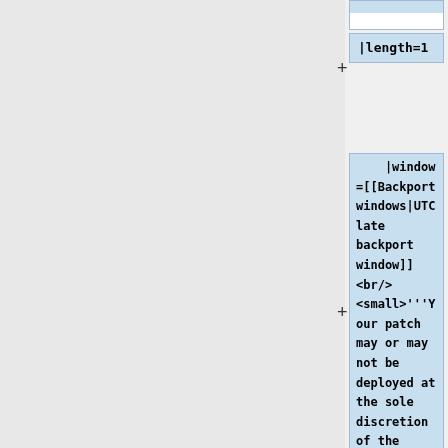|length=1
|window=[[Backport windows|UTC late backport window]]<br/><small>'''Your patch may or may not be deployed at the sole discretion of the deployer'''<br />'''(Max 6